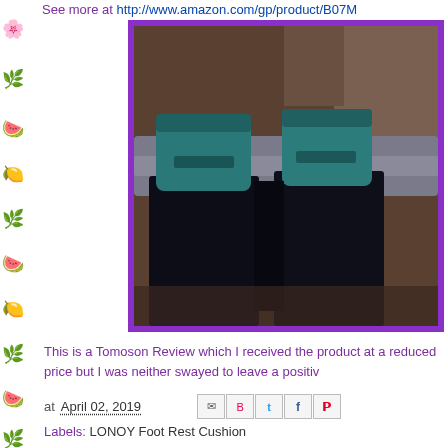See more at http://www.amazon.com/gp/product/B07M...
[Figure (photo): Photo showing a person's legs in dark leggings with teal/dark teal socks, seated on a grey couch with a patterned rug visible in the background. Purple border around the image.]
This is a Tomoson Review which I received the product at a reduced price but I was neither swayed to leave a positiv...
at April 02, 2019
Labels: LONOY Foot Rest Cushion